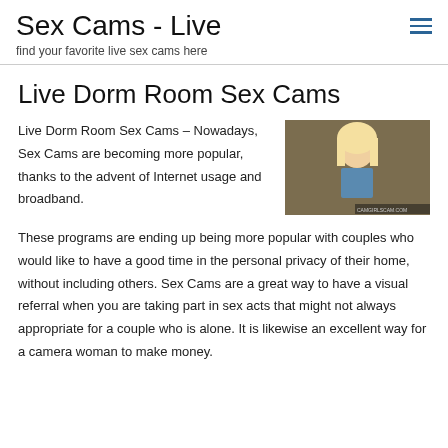Sex Cams - Live
find your favorite live sex cams here
Live Dorm Room Sex Cams
Live Dorm Room Sex Cams – Nowadays, Sex Cams are becoming more popular, thanks to the advent of Internet usage and broadband.
[Figure (photo): Blonde woman in front of a webcam]
These programs are ending up being more popular with couples who would like to have a good time in the personal privacy of their home, without including others. Sex Cams are a great way to have a visual referral when you are taking part in sex acts that might not always appropriate for a couple who is alone. It is likewise an excellent way for a camera woman to make money.